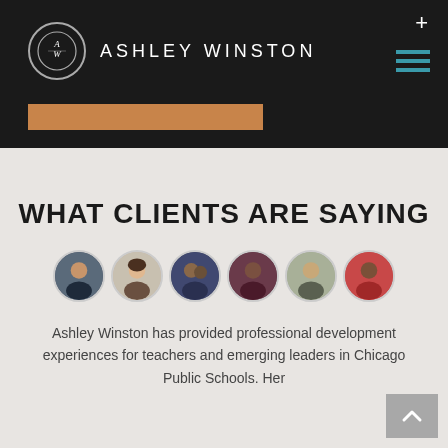Ashley Winston
[Figure (logo): Ashley Winston logo with circular AW monogram and brand name text]
WHAT CLIENTS ARE SAYING
[Figure (photo): Row of six circular profile photo avatars of clients]
Ashley Winston has provided professional development experiences for teachers and emerging leaders in Chicago Public Schools. Her